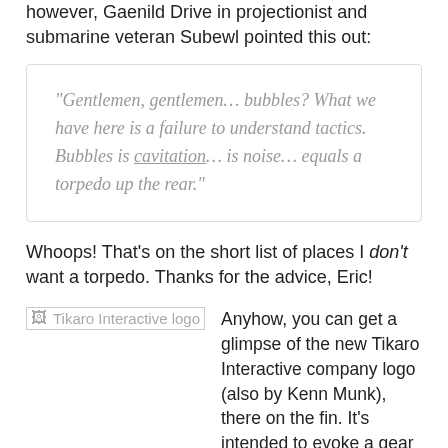however, Gaenild Drive in projectionist and submarine veteran Subewl pointed this out:
“Gentlemen, gentlemen… bubbles? What we have here is a failure to understand tactics. Bubbles is cavitation… is noise… equals a torpedo up the rear.”
Whoops! That’s on the short list of places I don’t want a torpedo. Thanks for the advice, Eric!
[Figure (logo): Tikaro Interactive logo placeholder image]
Anyhow, you can get a glimpse of the new Tikaro Interactive company logo (also by Kenn Munk), there on the fin. It’s intended to evoke a gear and a pixel. There’s also some bristle-block, some